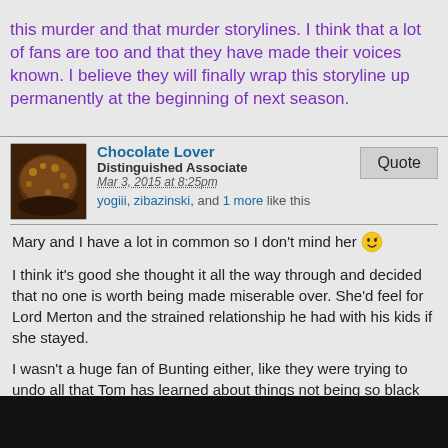this murder and that murder storylines. I think that a lot of fans are too and that they have made their voices known. I believe they will finally wrap this storyline up permanently at the beginning of next season.
Chocolate Lover
Distinguished Associate
Mar 3, 2015 at 8:25pm
yogiii, zibazinski, and 1 more like this
Mary and I have a lot in common so I don't mind her 😉

I think it's good she thought it all the way through and decided that no one is worth being made miserable over. She'd feel for Lord Merton and the strained relationship he had with his kids if she stayed.

I wasn't a huge fan of Bunting either, like they were trying to undo all that Tom has learned about things not being so black and white. It didn't make sense.

Very tired of the Bates' issues, give it a rest already!

😄